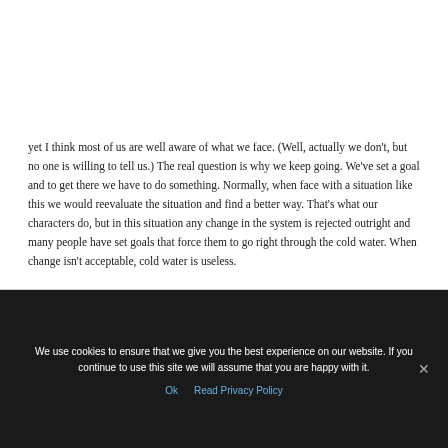yet I think most of us are well aware of what we face. (Well, actually we don't, but no one is willing to tell us.) The real question is why we keep going. We've set a goal and to get there we have to do something. Normally, when face with a situation like this we would reevaluate the situation and find a better way. That's what our characters do, but in this situation any change in the system is rejected outright and many people have set goals that force them to go right through the cold water. When change isn't acceptable, cold water is useless.
We use cookies to ensure that we give you the best experience on our website. If you continue to use this site we will assume that you are happy with it.
Ok   Read Privacy Policy